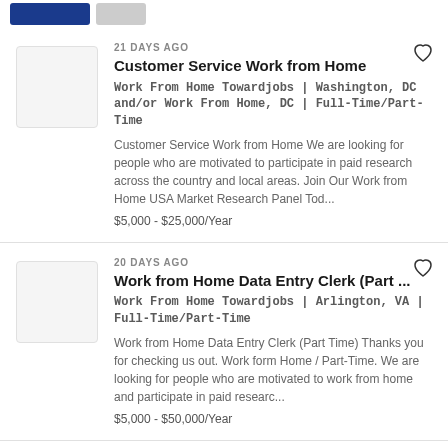[Figure (other): Top banner with blue and gray pill/button shapes partially visible]
21 DAYS AGO
Customer Service Work from Home
Work From Home Towardjobs | Washington, DC and/or Work From Home, DC | Full-Time/Part-Time
Customer Service Work from Home We are looking for people who are motivated to participate in paid research across the country and local areas. Join Our Work from Home USA Market Research Panel Tod...
$5,000 - $25,000/Year
20 DAYS AGO
Work from Home Data Entry Clerk (Part ...
Work From Home Towardjobs | Arlington, VA | Full-Time/Part-Time
Work from Home Data Entry Clerk (Part Time) Thanks you for checking us out. Work form Home / Part-Time. We are looking for people who are motivated to work from home and participate in paid researc...
$5,000 - $50,000/Year